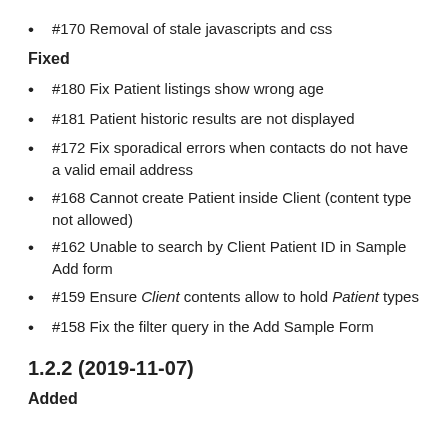#170 Removal of stale javascripts and css
Fixed
#180 Fix Patient listings show wrong age
#181 Patient historic results are not displayed
#172 Fix sporadical errors when contacts do not have a valid email address
#168 Cannot create Patient inside Client (content type not allowed)
#162 Unable to search by Client Patient ID in Sample Add form
#159 Ensure Client contents allow to hold Patient types
#158 Fix the filter query in the Add Sample Form
1.2.2 (2019-11-07)
Added